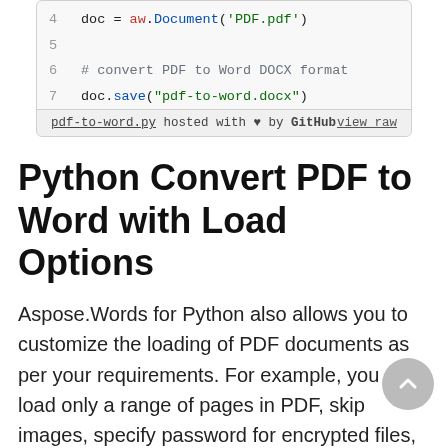[Figure (screenshot): Code block showing Python lines 4-7: line 4: doc = aw.Document('PDF.pdf'), line 5: empty, line 6: # convert PDF to Word DOCX format, line 7: doc.save('pdf-to-word.docx'). Footer: pdf-to-word.py hosted with heart by GitHub | view raw]
Python Convert PDF to Word with Load Options
Aspose.Words for Python also allows you to customize the loading of PDF documents as per your requirements. For example, you can load only a range of pages in PDF, skip images, specify password for encrypted files, etc. To set the lo... options, PdfLoadOptions class is used. The following are the steps to specify load options in